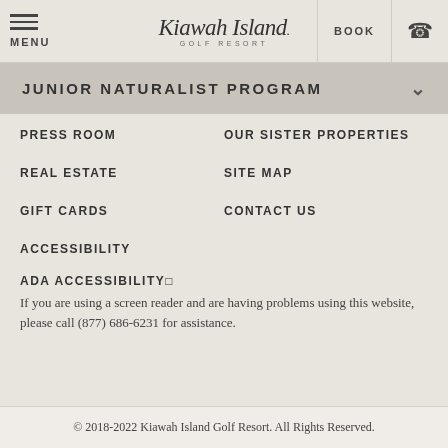MENU | Kiawah Island Golf Resort | BOOK
JUNIOR NATURALIST PROGRAM
PRESS ROOM
OUR SISTER PROPERTIES
REAL ESTATE
SITE MAP
GIFT CARDS
CONTACT US
ACCESSIBILITY
ADA ACCESSIBILITY□
If you are using a screen reader and are having problems using this website, please call (877) 686-6231 for assistance.
© 2018-2022 Kiawah Island Golf Resort. All Rights Reserved.